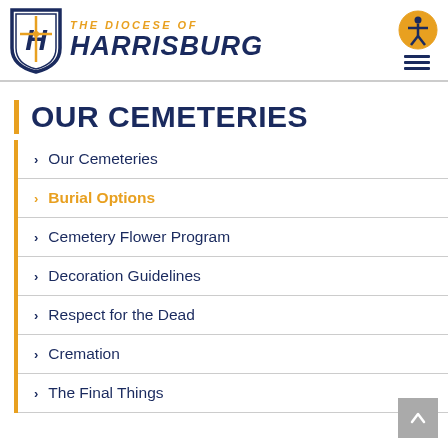[Figure (logo): The Diocese of Harrisburg shield logo with cross and 'H' emblem, navy blue and gold, alongside text 'THE DIOCESE OF HARRISBURG']
OUR CEMETERIES
Our Cemeteries
Burial Options
Cemetery Flower Program
Decoration Guidelines
Respect for the Dead
Cremation
The Final Things